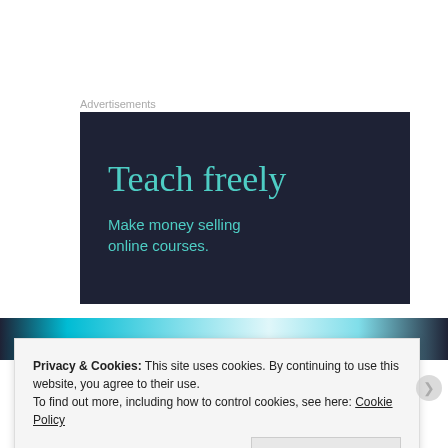Advertisements
[Figure (illustration): Dark navy advertisement banner with teal/turquoise text reading 'Teach freely' as headline and 'Make money selling online courses.' as subtext]
[Figure (photo): Partial photo strip showing colorful blue/teal tones at top of page, partially cropped]
Privacy & Cookies: This site uses cookies. By continuing to use this website, you agree to their use.
To find out more, including how to control cookies, see here: Cookie Policy
Close and accept